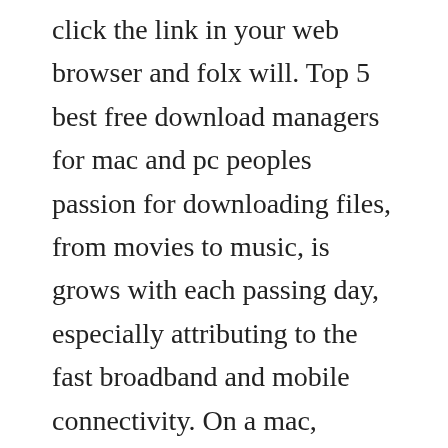click the link in your web browser and folx will. Top 5 best free download managers for mac and pc peoples passion for downloading files, from movies to music, is grows with each passing day, especially attributing to the fast broadband and mobile connectivity. On a mac, however, downloads can be accessed the same. Top 15 youtube video downloader for mac os xmacos 2020. Its interface is simple drag and drop a url into the app and youre good to go. I have used this app for many years and this app still remains the best. The main focus of leech is to smoothly integrate